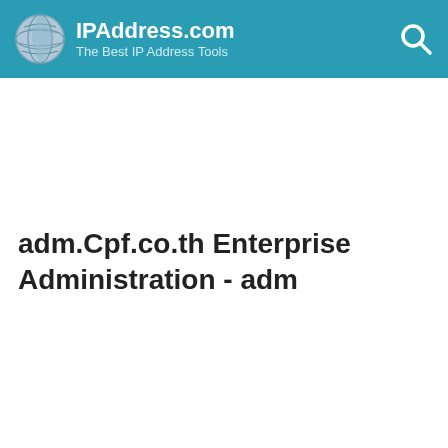IPAddress.com – The Best IP Address Tools
adm.Cpf.co.th Enterprise Administration - adm